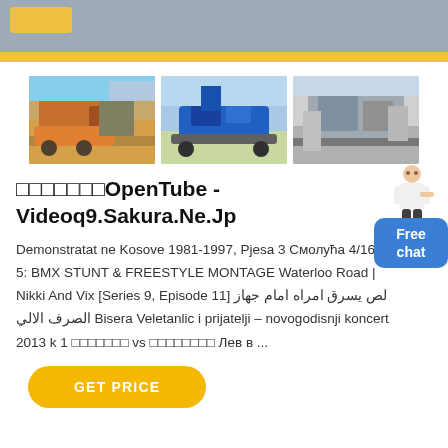[Figure (screenshot): Top navigation bar with gray background and yellow rectangle element]
[Figure (photo): Three photos of industrial/mining equipment and machinery side by side]
□□□□□□□OpenTube - Videoq9.Sakura.Ne.Jp
Demonstratat ne Kosove 1981-1997, Pjesa 3 Смолуħа 4/16 GTA 5: BMX STUNT & FREESTYLE MONTAGE Waterloo Road | Nikki And Vix [Series 9, Episode 11] لص يسرق امراه امام جهاز الصرف الالي Bisera Veletanlic i prijatelji – novogodisnji koncert 2013 k 1 □□□□□□□ vs □□□□□□□□ Лев в ...
[Figure (illustration): Free chat blue bubble with person illustration]
GET PRICE